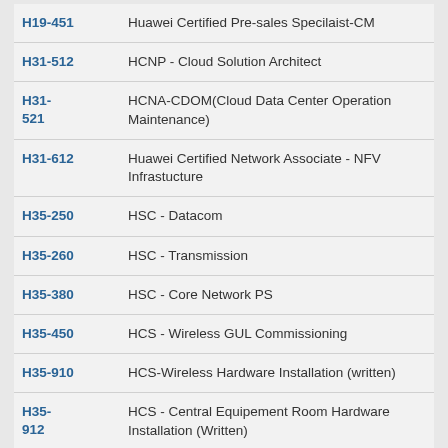| Code | Description |
| --- | --- |
| H19-451 | Huawei Certified Pre-sales Specilaist-CM |
| H31-512 | HCNP - Cloud Solution Architect |
| H31-521 | HCNA-CDOM(Cloud Data Center Operation Maintenance) |
| H31-612 | Huawei Certified Network Associate - NFV Infrastucture |
| H35-250 | HSC - Datacom |
| H35-260 | HSC - Transmission |
| H35-380 | HSC - Core Network PS |
| H35-450 | HCS - Wireless GUL Commissioning |
| H35-910 | HCS-Wireless Hardware Installation (written) |
| H35-912 | HCS - Central Equipement Room Hardware Installation (Written) |